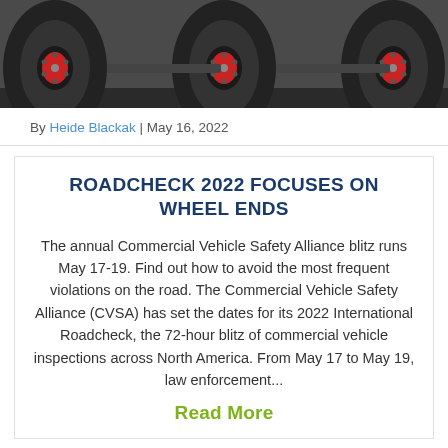[Figure (photo): Close-up photograph of large truck/commercial vehicle tires with red wheel hubs, viewed from the side at ground level]
By Heide Blackak | May 16, 2022
ROADCHECK 2022 FOCUSES ON WHEEL ENDS
The annual Commercial Vehicle Safety Alliance blitz runs May 17-19. Find out how to avoid the most frequent violations on the road. The Commercial Vehicle Safety Alliance (CVSA) has set the dates for its 2022 International Roadcheck, the 72-hour blitz of commercial vehicle inspections across North America. From May 17 to May 19, law enforcement...
Read More